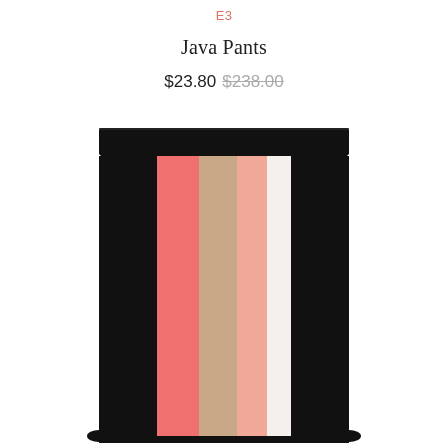E3
Java Pants
$23.80  $238.00
[Figure (photo): A pencil skirt with a black base and vertical color-block stripes in coral/salmon pink, tan/nude, light pink, and white panels.]